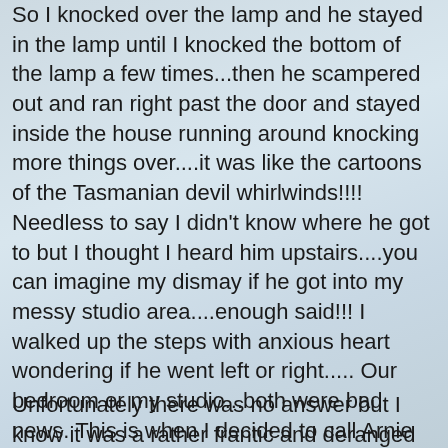So I knocked over the lamp and he stayed in the lamp until I knocked the bottom of the lamp a few times...then he scampered out and ran right past the door and stayed inside the house running around knocking more things over....it was like the cartoons of the Tasmanian devil whirlwinds!!!! Needless to say I didn't know where he got to but I thought I heard him upstairs....you can imagine my dismay if he got into my messy studio area....enough said!!! I walked up the steps with anxious heart wondering if he went left or right..... Our bedroom or my studio...both were bad news. This is when I decided to call Arnie and hope he was home. Maybe he would know how to lure a squirrel and how to catch a squirrel. This rodent was out of my league!!!
Unfortunately there was no answer but I know it was a rather frantic and deranged message I left for him. But I was on my own